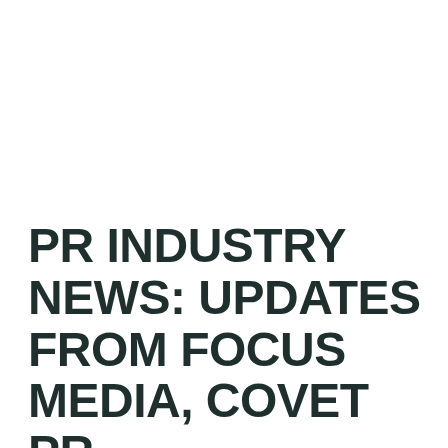PR INDUSTRY NEWS: UPDATES FROM FOCUS MEDIA, COVET PR, BEACH HOUSE + MORE